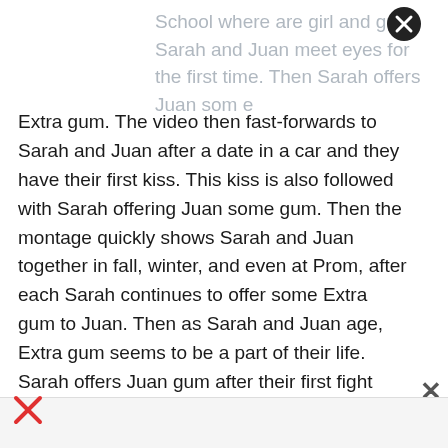School where are girl and guy, Sarah and Juan meet eyes for the first time. Then Sarah offers Juan some Extra gum. The video then fast-forwards to Sarah and Juan after a date in a car and they have their first kiss. This kiss is also followed with Sarah offering Juan some gum. Then the montage quickly shows Sarah and Juan together in fall, winter, and even at Prom, after each Sarah continues to offer some Extra gum to Juan. Then as Sarah and Juan age, Extra gum seems to be a part of their life. Sarah offers Juan gum after their first fight and as she leaves to move away from him. Then as the montage emphasizes their love story and the distance now between them, it shows us something new. Now we see that Juan is drawing or writing on the Extra gum wrappers that Sarah gives him. Then when Juan visits Sarah in the city, Sarah is going to meet him. Sarah walks into a